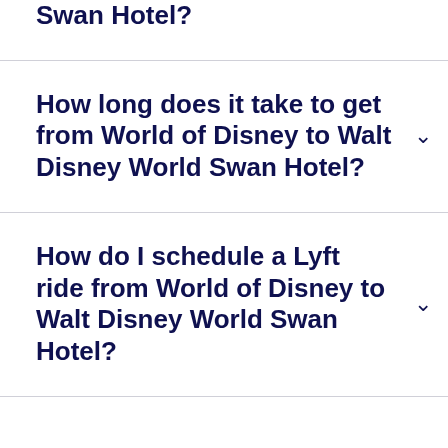Swan Hotel?
How long does it take to get from World of Disney to Walt Disney World Swan Hotel?
How do I schedule a Lyft ride from World of Disney to Walt Disney World Swan Hotel?